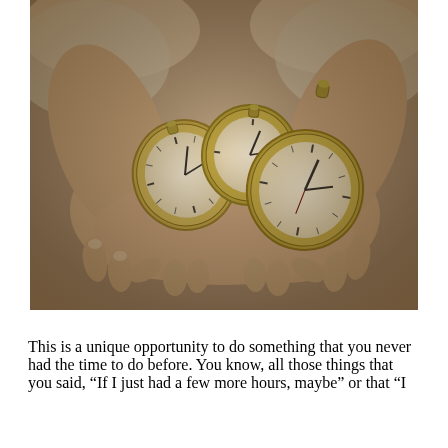[Figure (photo): Sepia-toned photograph of two hands cupped together holding three antique pocket watches. The hands appear to be an elderly person's, wearing lace-cuffed sleeves. The pocket watches are open and display clock faces.]
This is a unique opportunity to do something that you never had the time to do before. You know, all those things that you said, “If I just had a few more hours, maybe” or that “I